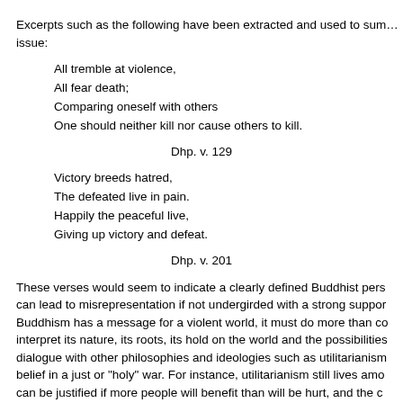Excerpts such as the following have been extracted and used to summarize the issue:
All tremble at violence,
All fear death;
Comparing oneself with others
One should neither kill nor cause others to kill.
Dhp. v. 129
Victory breeds hatred,
The defeated live in pain.
Happily the peaceful live,
Giving up victory and defeat.
Dhp. v. 201
These verses would seem to indicate a clearly defined Buddhist perspective that can lead to misrepresentation if not undergirded with a strong support. If Buddhism has a message for a violent world, it must do more than comment; interpret its nature, its roots, its hold on the world and the possibilities of dialogue with other philosophies and ideologies such as utilitarianism and belief in a just or "holy" war. For instance, utilitarianism still lives among can be justified if more people will benefit than will be hurt, and the c